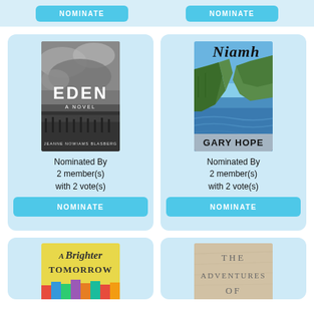[Figure (other): Top strip with two Nominate buttons partially visible]
[Figure (illustration): Book cover for EDEN - A Novel by Jeanne Nowiams Blasberg, black and white stormy sky landscape]
Nominated By 2 member(s) with 2 vote(s)
NOMINATE
[Figure (illustration): Book cover for Niamh by Gary Hope, featuring the Cliffs of Moher with ocean view]
Nominated By 2 member(s) with 2 vote(s)
NOMINATE
[Figure (illustration): Book cover for A Brighter Tomorrow, yellow background with colorful pages]
[Figure (illustration): Book cover for The Adventures Of, stone/parchment texture background]